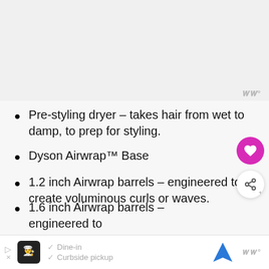[Figure (other): Top image area (product image placeholder, light gray background)]
Pre-styling dryer – takes hair from wet to damp, to prep for styling.
Dyson Airwrap™ Base
1.2 inch Airwrap barrels – engineered to create voluminous curls or waves.
1.6 inch Airwrap barrels – engineered to
[Figure (other): Advertisement bar at bottom with restaurant icons, Dine-in and Curbside pickup checkmarks, navigation icon]
Dine-in
Curbside pickup